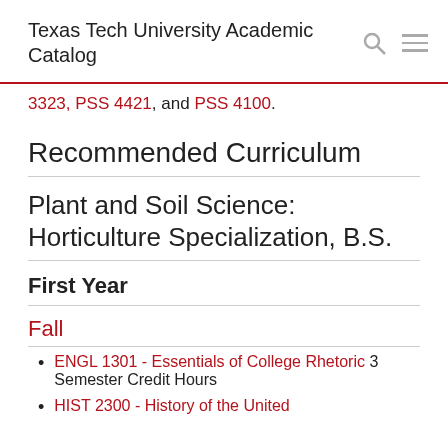Texas Tech University Academic Catalog
3323, PSS 4421, and PSS 4100.
Recommended Curriculum
Plant and Soil Science: Horticulture Specialization, B.S.
First Year
Fall
ENGL 1301 - Essentials of College Rhetoric 3 Semester Credit Hours
HIST 2300 - History of the United